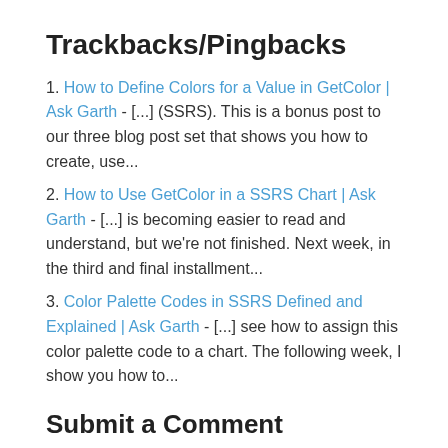Trackbacks/Pingbacks
1. How to Define Colors for a Value in GetColor | Ask Garth - [...] (SSRS). This is a bonus post to our three blog post set that shows you how to create, use...
2. How to Use GetColor in a SSRS Chart | Ask Garth - [...] is becoming easier to read and understand, but we're not finished. Next week, in the third and final installment...
3. Color Palette Codes in SSRS Defined and Explained | Ask Garth - [...] see how to assign this color palette code to a chart. The following week, I show you how to...
Submit a Comment
Your email address will not be published. Required fields are marked *